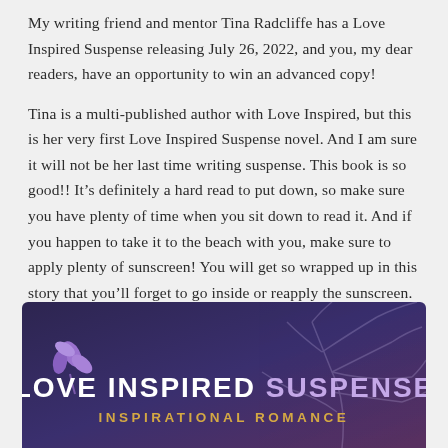My writing friend and mentor Tina Radcliffe has a Love Inspired Suspense releasing July 26, 2022, and you, my dear readers, have an opportunity to win an advanced copy!
Tina is a multi-published author with Love Inspired, but this is her very first Love Inspired Suspense novel. And I am sure it will not be her last time writing suspense. This book is so good!! It's definitely a hard read to put down, so make sure you have plenty of time when you sit down to read it. And if you happen to take it to the beach with you, make sure to apply plenty of sunscreen! You will get so wrapped up in this story that you'll forget to go inside or reapply the sunscreen. 😉
[Figure (logo): Love Inspired Suspense banner with dark purple background, decorative tree silhouette, purple leaf motif, bold white text 'LOVE INSPIRED SUSPENSE' and gold text 'INSPIRATIONAL ROMANCE']